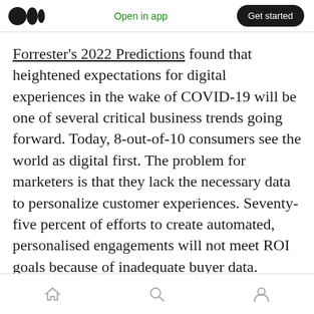Open in app | Get started
Forrester's 2022 Predictions found that heightened expectations for digital experiences in the wake of COVID-19 will be one of several critical business trends going forward. Today, 8-out-of-10 consumers see the world as digital first. The problem for marketers is that they lack the necessary data to personalize customer experiences. Seventy-five percent of efforts to create automated, personalised engagements will not meet ROI goals because of inadequate buyer data.
Home | Search | Profile